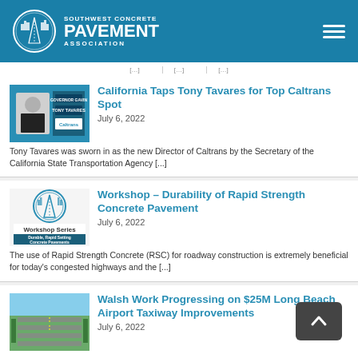Southwest Concrete Pavement Association
California Taps Tony Tavares for Top Caltrans Spot
July 6, 2022
Tony Tavares was sworn in as the new Director of Caltrans by the Secretary of the California State Transportation Agency [...]
Workshop – Durability of Rapid Strength Concrete Pavement
July 6, 2022
The use of Rapid Strength Concrete (RSC) for roadway construction is extremely beneficial for today's congested highways and the [...]
Walsh Work Progressing on $25M Long Beach Airport Taxiway Improvements
July 6, 2022